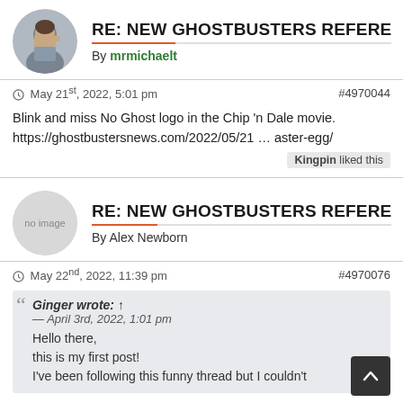RE: NEW GHOSTBUSTERS REFERE
By mrmichaelt
- May 21st, 2022, 5:01 pm   #4970044
Blink and miss No Ghost logo in the Chip 'n Dale movie.
https://ghostbustersnews.com/2022/05/21 … aster-egg/
Kingpin liked this
RE: NEW GHOSTBUSTERS REFERE
By Alex Newborn
- May 22nd, 2022, 11:39 pm   #4970076
Ginger wrote: ↑
— April 3rd, 2022, 1:01 pm
Hello there,
this is my first post!
I've been following this funny thread but I couldn't